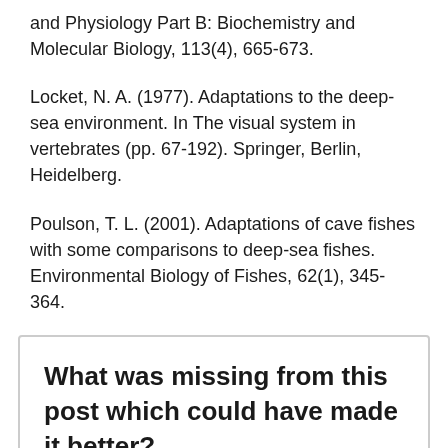and Physiology Part B: Biochemistry and Molecular Biology, 113(4), 665-673.
Locket, N. A. (1977). Adaptations to the deep-sea environment. In The visual system in vertebrates (pp. 67-192). Springer, Berlin, Heidelberg.
Poulson, T. L. (2001). Adaptations of cave fishes with some comparisons to deep-sea fishes. Environmental Biology of Fishes, 62(1), 345-364.
What was missing from this post which could have made it better?